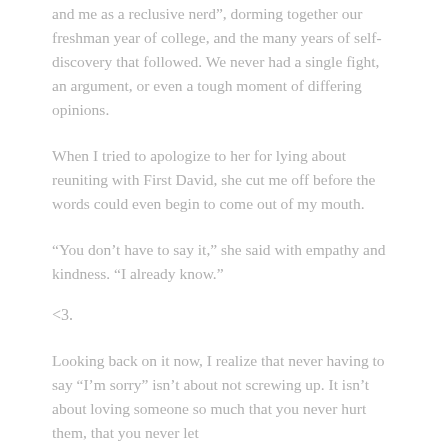and me as a reclusive nerd”, dorming together our freshman year of college, and the many years of self-discovery that followed. We never had a single fight, an argument, or even a tough moment of differing opinions.
When I tried to apologize to her for lying about reuniting with First David, she cut me off before the words could even begin to come out of my mouth.
“You don’t have to say it,” she said with empathy and kindness. “I already know.”
<3.
Looking back on it now, I realize that never having to say “I’m sorry” isn’t about not screwing up. It isn’t about loving someone so much that you never hurt them, that you never let